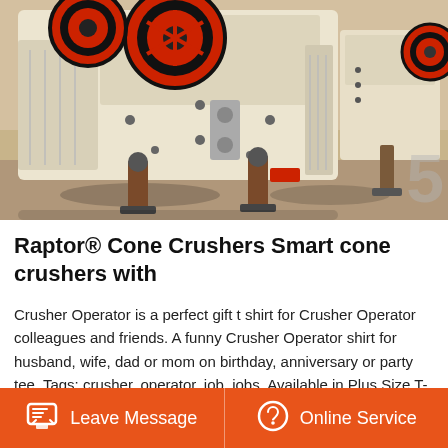[Figure (photo): Industrial jaw crusher machines in a factory setting. Large white and cream-colored heavy machinery with orange/red flywheels visible at the top. Rust-colored support columns/legs visible in the foreground. Multiple crusher units visible.]
Raptor® Cone Crushers Smart cone crushers with
Crusher Operator is a perfect gift t shirt for Crusher Operator colleagues and friends. A funny Crusher Operator shirt for husband, wife, dad or mom on birthday, anniversary or party tee. Tags: crusher, operator, job, jobs. Available in Plus Size T-Shirt. Back to Design.Operator Third party software Slacker position Discharge…
Leave Message
Online Service